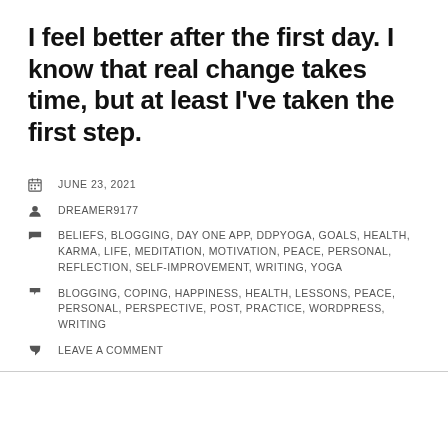I feel better after the first day. I know that real change takes time, but at least I've taken the first step.
JUNE 23, 2021
DREAMER9177
BELIEFS, BLOGGING, DAY ONE APP, DDPYOGA, GOALS, HEALTH, KARMA, LIFE, MEDITATION, MOTIVATION, PEACE, PERSONAL, REFLECTION, SELF-IMPROVEMENT, WRITING, YOGA
BLOGGING, COPING, HAPPINESS, HEALTH, LESSONS, PEACE, PERSONAL, PERSPECTIVE, POST, PRACTICE, WORDPRESS, WRITING
LEAVE A COMMENT